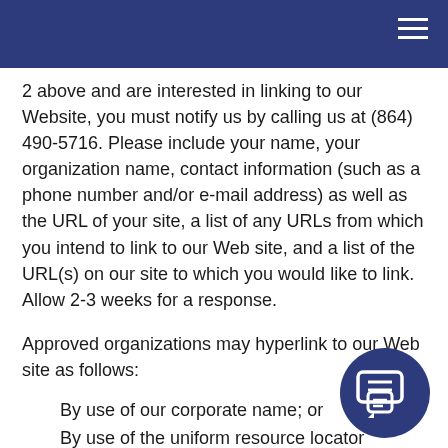2 above and are interested in linking to our Website, you must notify us by calling us at (864) 490-5716. Please include your name, your organization name, contact information (such as a phone number and/or e-mail address) as well as the URL of your site, a list of any URLs from which you intend to link to our Web site, and a list of the URL(s) on our site to which you would like to link. Allow 2-3 weeks for a response.
Approved organizations may hyperlink to our Web site as follows:
By use of our corporate name; or
By use of the uniform resource locator (Web address) being linked to; or
By use of any other description of our Web site or